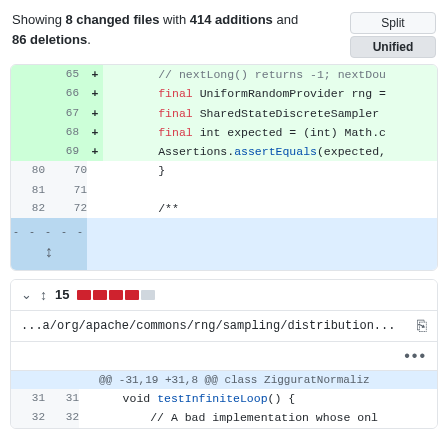Showing 8 changed files with 414 additions and 86 deletions.
[Figure (screenshot): GitHub diff view showing code changes with line numbers, added lines highlighted in green, and an expand section in blue]
[Figure (screenshot): Second GitHub diff file entry showing 15 changes with red bars indicator, file path ...a/org/apache/commons/rng/sampling/distribution..., hunk header @@ -31,19 +31,8 @@ class ZigguratNormaliz, and code lines 31-32]